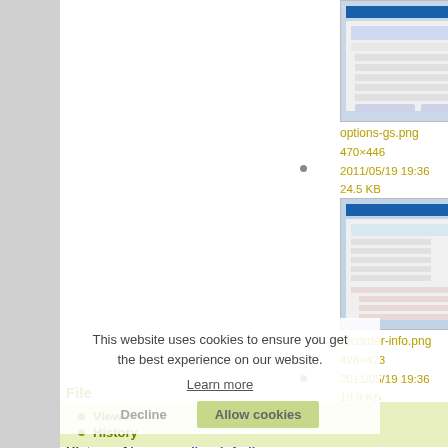[Figure (screenshot): Screenshot of options-gs.png file, a Windows dialog box]
options-gs.png
470×446
2011/05/19 19:36
24.5 KB
[Figure (screenshot): Screenshot of recorder-info.png file, a Windows dialog box]
recorder-info.png
426×423
2011/05/19 19:36
19.9 KB
This website uses cookies to ensure you get the best experience on our website.
Learn more
Decline
Allow cookies
File
View
History
History of images:xdisc_infodis